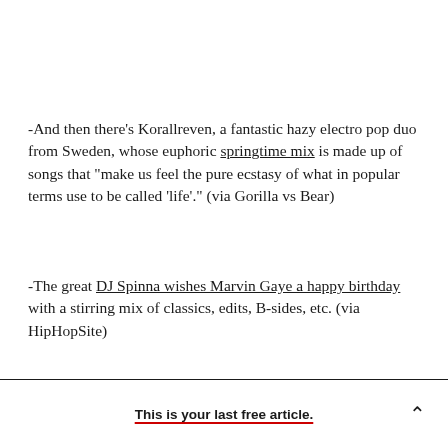-And then there's Korallreven, a fantastic hazy electro pop duo from Sweden, whose euphoric springtime mix is made up of songs that "make us feel the pure ecstasy of what in popular terms use to be called 'life'." (via Gorilla vs Bear)
-The great DJ Spinna wishes Marvin Gaye a happy birthday with a stirring mix of classics, edits, B-sides, etc. (via HipHopSite)
This is your last free article.